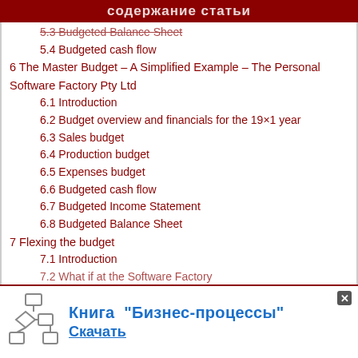содержание статьи
5.3 Budgeted Balance Sheet
5.4 Budgeted cash flow
6 The Master Budget – A Simplified Example – The Personal Software Factory Pty Ltd
6.1 Introduction
6.2 Budget overview and financials for the 19×1 year
6.3 Sales budget
6.4 Production budget
6.5 Expenses budget
6.6 Budgeted cash flow
6.7 Budgeted Income Statement
6.8 Budgeted Balance Sheet
7 Flexing the budget
7.1 Introduction
7.2 What if at the Software Factory
[Figure (infographic): Advertisement banner: flowchart icon on the left, bold blue Russian text 'Книга "Бизнес-процессы"' with a close button, and 'Скачать' link below.]